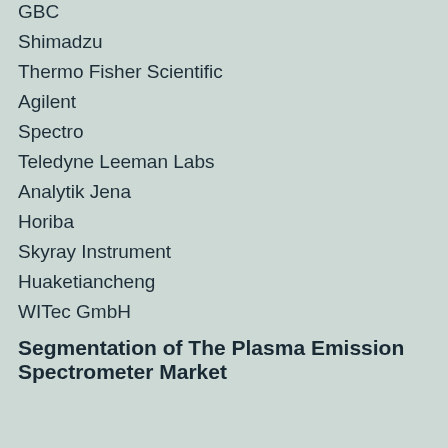GBC
Shimadzu
Thermo Fisher Scientific
Agilent
Spectro
Teledyne Leeman Labs
Analytik Jena
Horiba
Skyray Instrument
Huaketiancheng
WITec GmbH
Segmentation of The Plasma Emission Spectrometer Market